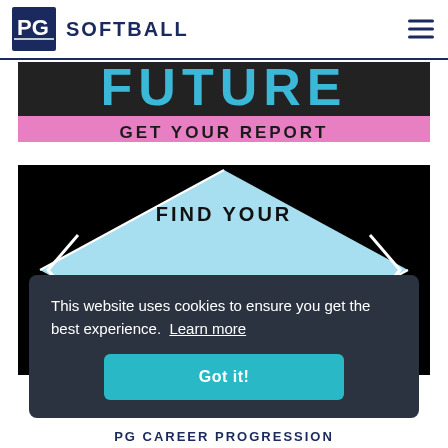PG SOFTBALL
[Figure (illustration): Banner showing 'FUTURE' in teal text on dark background with pink 'GET YOUR REPORT' bar below]
[Figure (illustration): Diamond-shaped graphic on black background with light blue fill showing 'FIND YOUR IDEAL CULTURE' text]
This website uses cookies to ensure you get the best experience. Learn more
Got it!
PG CAREER PROGRESSION